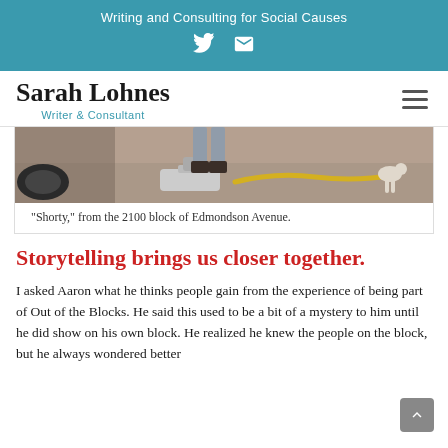Writing and Consulting for Social Causes
Sarah Lohnes
Writer & Consultant
[Figure (photo): Photo of a person's legs and feet standing near a floor jack/hydraulic jack with a yellow hose in what appears to be a garage or automotive shop setting.]
"Shorty," from the 2100 block of Edmondson Avenue.
Storytelling brings us closer together.
I asked Aaron what he thinks people gain from the experience of being part of Out of the Blocks. He said this used to be a bit of a mystery to him until he did show on his own block. He realized he knew the people on the block, but he always wondered better